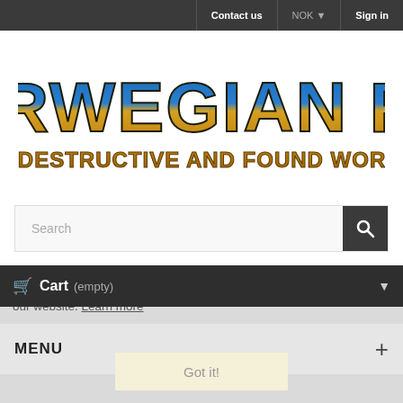Contact us | NOK ▼ | Sign in
[Figure (logo): Norwegian Rat logo with stylized text 'NORWEGIAN RAT' in blue/yellow/gold and subtitle 'HIGHLY DESTRUCTIVE AND FOUND WORLDWIDE']
Search
Cart (empty)
This website uses cookies to ensure you get the best experience on our website. Learn more
MENU
Got it!